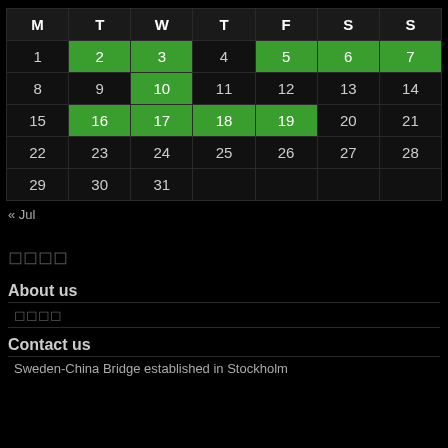| M | T | W | T | F | S | S |
| --- | --- | --- | --- | --- | --- | --- |
| 1 | 2 | 3 | 4 | 5 | 6 | 7 |
| 8 | 9 | 10 | 11 | 12 | 13 | 14 |
| 15 | 16 | 17 | 18 | 19 | 20 | 21 |
| 22 | 23 | 24 | 25 | 26 | 27 | 28 |
| 29 | 30 | 31 |  |  |  |  |
« Jul
🔲🔲🔲🔲
About us
🔲🔲🔲🔲
Contact us
Sweden-China Bridge established in Stockholm